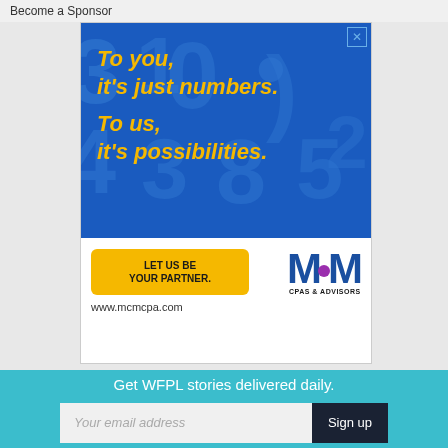Become a Sponsor
[Figure (illustration): MCM CPAs & Advisors advertisement. Blue background with large faded numbers. Yellow italic text reads: To you, it's just numbers. To us, it's possibilities. Yellow button: LET US BE YOUR PARTNER. MCM logo with CPAs & Advisors. Website: www.mcmcpa.com]
Get WFPL stories delivered daily.
Your email address
Sign up